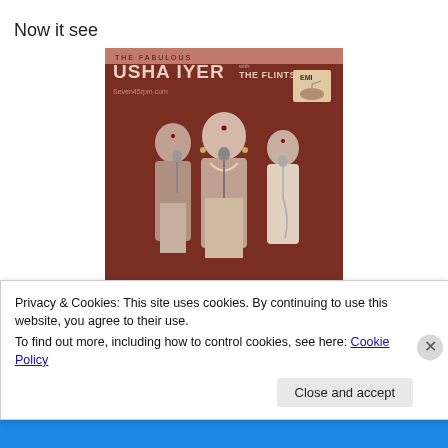Now it see
[Figure (photo): Album cover for 'The Fabulous Usha Iyer with The Flintstones' on EMI label. Sepia/dark red toned image showing three women in sarees holding microphones. Text: THE FABULOUS USHA IYER with THE FLINTSTONES. Watermark: Seven45rpm.com. EMI logo top right.]
Privacy & Cookies: This site uses cookies. By continuing to use this website, you agree to their use.
To find out more, including how to control cookies, see here: Cookie Policy
Close and accept